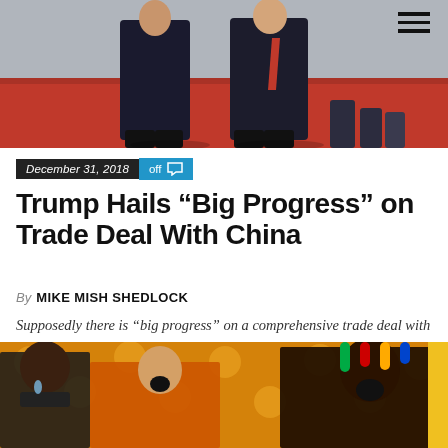[Figure (photo): Two men in dark overcoats standing on a red carpet, appearing to be world leaders at a formal outdoor ceremony]
December 31, 2018  Off
Trump Hails “Big Progress” on Trade Deal With China
By MIKE MISH SHEDLOCK
Supposedly there is “big progress” on a comprehensive trade deal with China. Color me skeptical.
[Figure (photo): Collage of three people with dramatic expressions, colorful background]